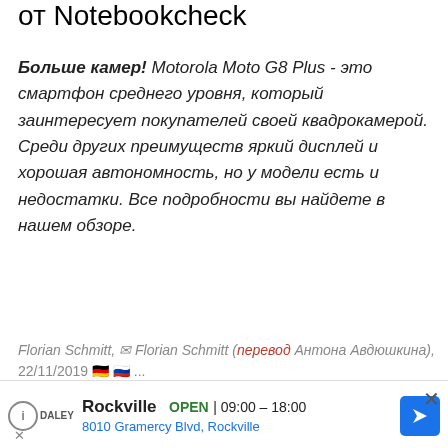от Notebookcheck
Больше камер! Motorola Moto G8 Plus - это смартфон среднего уровня, который заинтересует покупателей своей квадрокамерой. Среди других преимуществ яркий дисплей и хорошая автономность, но у модели есть и недостатки. Все подробности вы найдете в нашем обзоре.
Florian Schmitt, ✉ Florian Schmitt (перевод Антона Авдюшкина), 22/11/2019 🇩🇪 🇷🇺 ...
Android  ARM  сенсорный  смартфоны и всё, что связано с ними
[Figure (other): Grey advertisement placeholder area]
Rockville  OPEN | 09:00 – 18:00  8010 Gramercy Blvd, Rockville